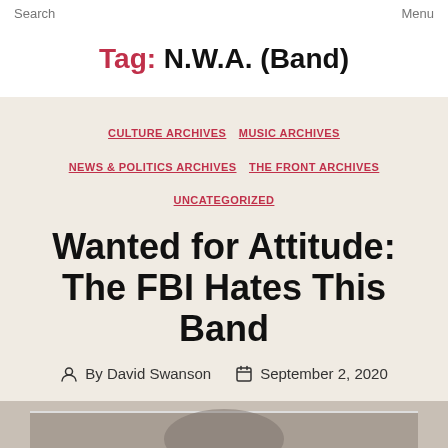Search    Menu
Tag: N.W.A. (Band)
CULTURE ARCHIVES  MUSIC ARCHIVES  NEWS & POLITICS ARCHIVES  THE FRONT ARCHIVES  UNCATEGORIZED
Wanted for Attitude: The FBI Hates This Band
By David Swanson  September 2, 2020
[Figure (photo): Partial view of a black and white photograph of band members, cropped at bottom of page]